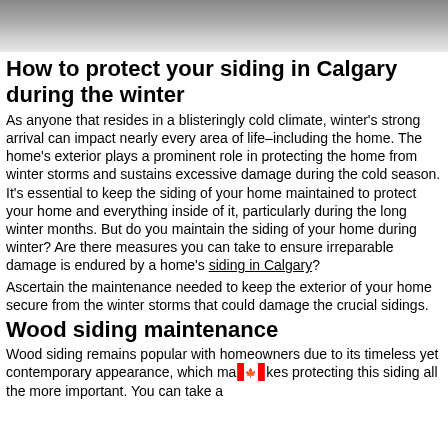[Figure (photo): Photo of building siding or roofline, grey/overcast tones, cropped strip at top of page]
How to protect your siding in Calgary during the winter
As anyone that resides in a blisteringly cold climate, winter's strong arrival can impact nearly every area of life–including the home. The home's exterior plays a prominent role in protecting the home from winter storms and sustains excessive damage during the cold season. It's essential to keep the siding of your home maintained to protect your home and everything inside of it, particularly during the long winter months. But do you maintain the siding of your home during winter? Are there measures you can take to ensure irreparable damage is endured by a home's siding in Calgary?
Ascertain the maintenance needed to keep the exterior of your home secure from the winter storms that could damage the crucial sidings.
Wood siding maintenance
Wood siding remains popular with homeowners due to its timeless yet contemporary appearance, which makes protecting this siding all the more important. You can take a